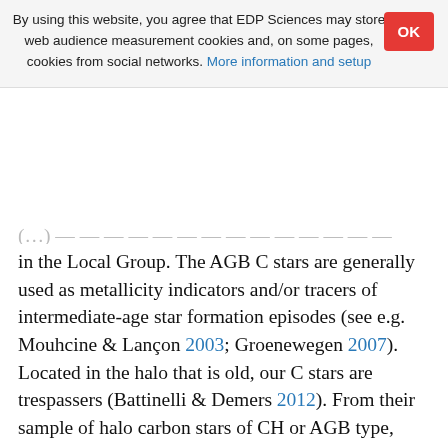By using this website, you agree that EDP Sciences may store web audience measurement cookies and, on some pages, cookies from social networks. More information and setup
in the Local Group. The AGB C stars are generally used as metallicity indicators and/or tracers of intermediate-age star formation episodes (see e.g. Mouhcine & Lançon 2003; Groenewegen 2007). Located in the halo that is old, our C stars are trespassers (Battinelli & Demers 2012). From their sample of halo carbon stars of CH or AGB type, Ibata et al. (2001) showed that a large portion of the AGB objects trace the Sgr stream, but one can ask whether they have the same history as those in Sgr, and from where the others originate. For almost all galaxies close to the Milky Way, specific surveys of AGB stars (including C stars) have been achieved, but much remains to be done. For example, the surveys of C stars